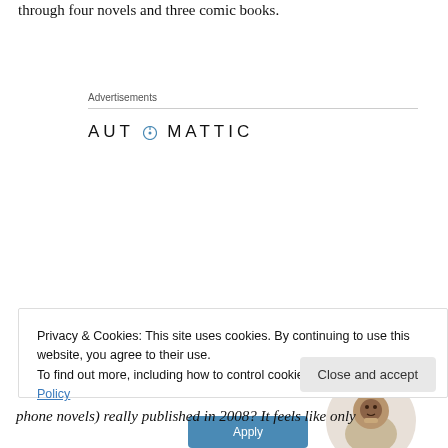through four novels and three comic books.
Advertisements
[Figure (logo): Automattic logo with circular compass icon replacing the letter O]
[Figure (infographic): Automattic advertisement: 'Build a better web and a better world.' with an Apply button and a photo of a man thinking]
Privacy & Cookies: This site uses cookies. By continuing to use this website, you agree to their use.
To find out more, including how to control cookies, see here: Cookie Policy
Close and accept
phone novels) really published in 2008? It feels like only